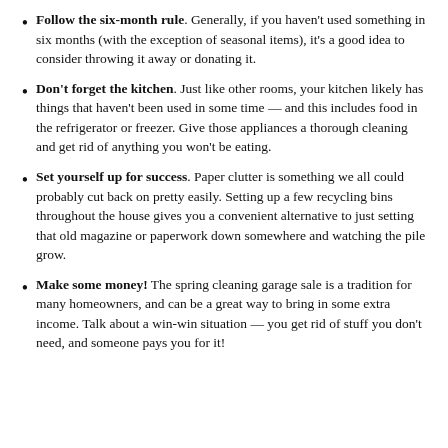Follow the six-month rule. Generally, if you haven't used something in six months (with the exception of seasonal items), it's a good idea to consider throwing it away or donating it.
Don't forget the kitchen. Just like other rooms, your kitchen likely has things that haven't been used in some time — and this includes food in the refrigerator or freezer. Give those appliances a thorough cleaning and get rid of anything you won't be eating.
Set yourself up for success. Paper clutter is something we all could probably cut back on pretty easily. Setting up a few recycling bins throughout the house gives you a convenient alternative to just setting that old magazine or paperwork down somewhere and watching the pile grow.
Make some money! The spring cleaning garage sale is a tradition for many homeowners, and can be a great way to bring in some extra income. Talk about a win-win situation — you get rid of stuff you don't need, and someone pays you for it!